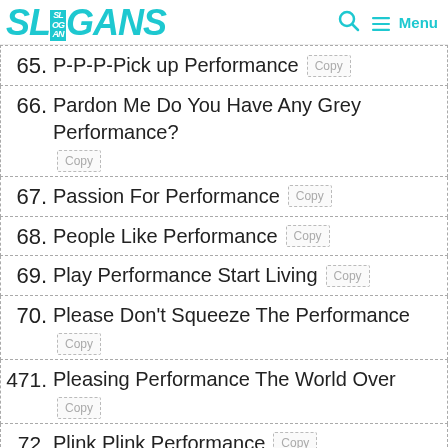SLOGANS
65. P-P-P-Pick up Performance
66. Pardon Me Do You Have Any Grey Performance?
67. Passion For Performance
68. People Like Performance
69. Play Performance Start Living
70. Please Don't Squeeze The Performance
471. Pleasing Performance The World Over
72. Plink Plink Performance
73. Plop Plop Fizz Fizz Oh What Performance It Is